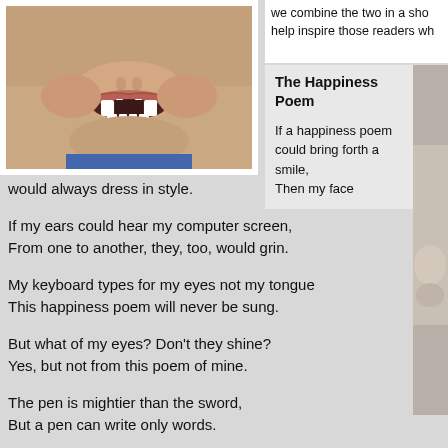[Figure (photo): Close-up photo of a child's smiling mouth showing missing front teeth]
we combine the two in a sho help inspire those readers wh
The Happiness Poem
If a happiness poem could bring forth a smile, Then my face would always dress in style.

If my ears could hear my computer screen, From one to another, they, too, would grin.

My keyboard types for my eyes not my tongue This happiness poem will never be sung.

But what of my eyes?  Don't they shine? Yes, but not from this poem of mine.

The pen is mightier than the sword, But a pen can write only words.

The feelings I sense and the senses I feel For keyboard and screen remain far too real.
[Figure (photo): Partially visible photo of a smiling person on the right edge]